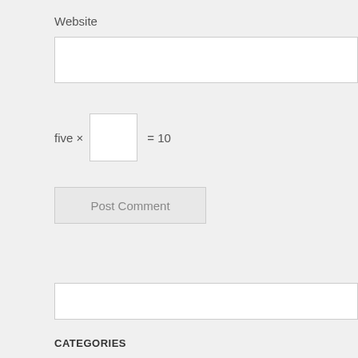Website
five × [input box] = 10
Post Comment
CATEGORIES
Chess (2)
Dance (4)
Food (9)
Games (2)
Knots (10)